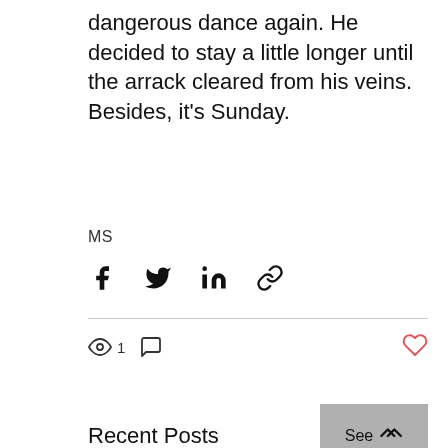dangerous dance again. He decided to stay a little longer until the arrack cleared from his veins. Besides, it's Sunday.
MS
[Figure (infographic): Social share icons: Facebook, Twitter, LinkedIn, link/chain icon]
[Figure (infographic): Post stats row: eye icon with count '1', comment bubble icon, heart/like icon (outline, red)]
Recent Posts
See All
[Figure (photo): Three thumbnail images side by side: left is a dark portrait crop, center shows scissors with 'MONTHLY STORY' label and 'NICOLE' text in red, right is a dark hair/portrait crop]